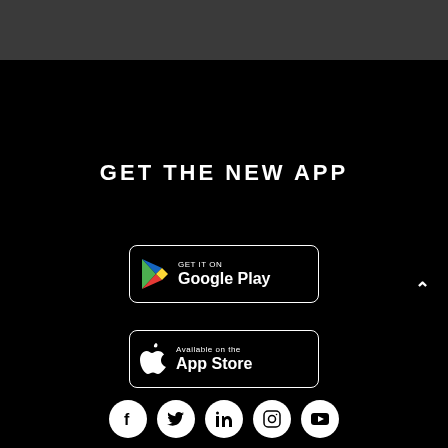GET THE NEW APP
[Figure (logo): Google Play Store badge with play triangle icon, text: GET IT ON Google Play]
[Figure (logo): Apple App Store badge with Apple logo, text: Available on the App Store]
[Figure (infographic): Social media icons row: Facebook, Twitter, LinkedIn, Instagram, YouTube — white circles on black background]